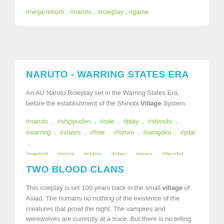#ninja-reborn , #naruto , #roleplay , #game
NARUTO - WARRING STATES ERA
An AU Naruto Roleplay set in the Warring States Era, before the establishment of the Shinobi Village System.
#naruto , #shippuden , #role , #play , #shinobi , #warring , #states , #free , #forum , #sengoku , #jidai , #period , #ninja , #clans , #clan , #wars , #feudal , #uchiha , #senju
TWO BLOOD CLANS
This roleplay is set 100 years back in the small village of Aslad. The humans no nothing of the existence of the creatures that prowl the night. The vampires and werewolves are currently at a truce. But there is no telling how long that will last. So